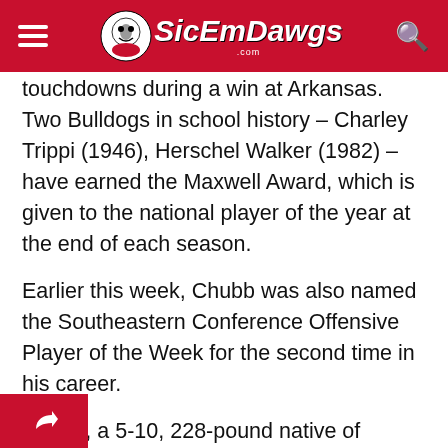SicEmDawgs
touchdowns during a win at Arkansas. Two Bulldogs in school history – Charley Trippi (1946), Herschel Walker (1982) – have earned the Maxwell Award, which is given to the national player of the year at the end of each season.
Earlier this week, Chubb was also named the Southeastern Conference Offensive Player of the Week for the second time in his career.
Chubb, a 5-10, 228-pound native of Cedartown, Ga., shredded the Tar Heel defense for 222 yards and two touchdowns on 32 carries (6.9 average). Chubb stands second nationally in yards rushing through